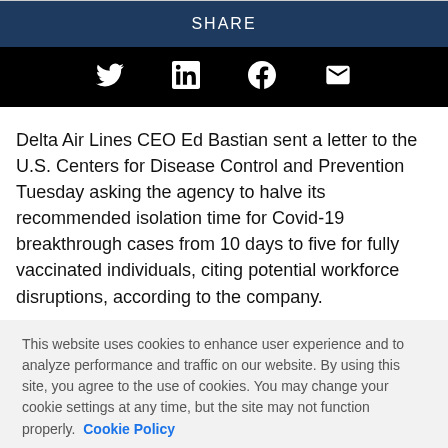[Figure (infographic): SHARE header bar in dark navy blue with social media icons bar (Twitter, LinkedIn, Facebook, Email) on black background below]
Delta Air Lines CEO Ed Bastian sent a letter to the U.S. Centers for Disease Control and Prevention Tuesday asking the agency to halve its recommended isolation time for Covid-19 breakthrough cases from 10 days to five for fully vaccinated individuals, citing potential workforce disruptions, according to the company.
This website uses cookies to enhance user experience and to analyze performance and traffic on our website. By using this site, you agree to the use of cookies. You may change your cookie settings at any time, but the site may not function properly. Cookie Policy